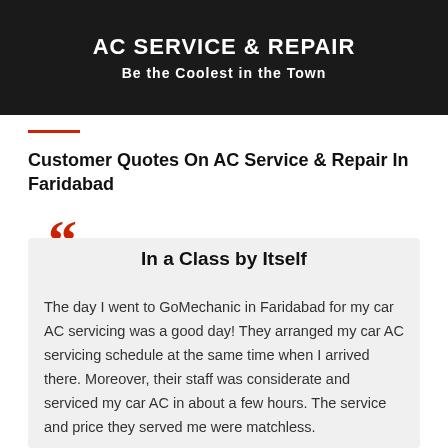[Figure (photo): Dark banner image showing automotive AC service work with text overlay]
Customer Quotes On AC Service & Repair In Faridabad
In a Class by Itself
The day I went to GoMechanic in Faridabad for my car AC servicing was a good day! They arranged my car AC servicing schedule at the same time when I arrived there. Moreover, their staff was considerate and serviced my car AC in about a few hours. The service and price they served me were matchless.